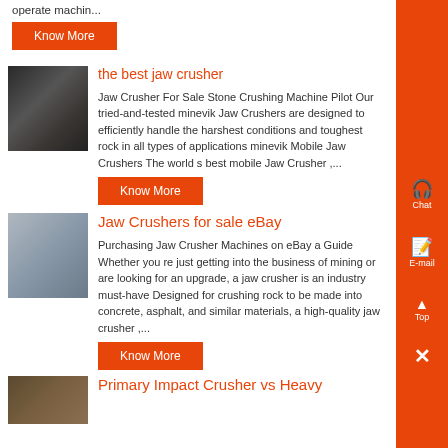operate machin...
Know More
[Figure (photo): Photo of a jaw crusher part - dark toothed metal component]
the best jaw crusher
Jaw Crusher For Sale Stone Crushing Machine Pilot Our tried-and-tested minevik Jaw Crushers are designed to efficiently handle the harshest conditions and toughest rock in all types of applications minevik Mobile Jaw Crushers The world s best mobile Jaw Crusher ,...
Know More
[Figure (photo): Photo of jaw crusher machine - metallic industrial equipment]
Jaw Crushers for sale eBay
Purchasing Jaw Crusher Machines on eBay a Guide Whether you re just getting into the business of mining or are looking for an upgrade, a jaw crusher is an industry must-have Designed for crushing rock to be made into concrete, asphalt, and similar materials, a high-quality jaw crusher ,...
Know More
[Figure (photo): Photo of primary impact crusher]
Primary Impact Crusher vs Heavy